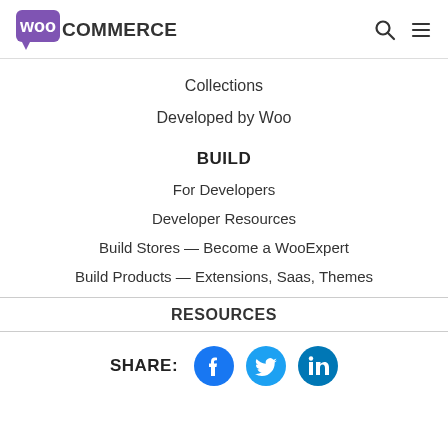[Figure (logo): WooCommerce logo with purple speech bubble icon and bold COMMERCE text]
Collections
Developed by Woo
BUILD
For Developers
Developer Resources
Build Stores — Become a WooExpert
Build Products — Extensions, Saas, Themes
RESOURCES
[Figure (infographic): SHARE: label with Facebook, Twitter, and LinkedIn social media icons]